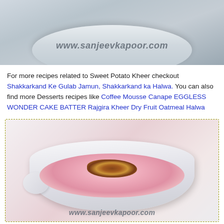[Figure (photo): Top portion of a white bowl with kheer/dessert, light gray-blue toned background with watermark www.sanjeevkapoor.com]
For more recipes related to Sweet Potato Kheer checkout Shakkarkand Ke Gulab Jamun, Shakkarkand ka Halwa. You can also find more Desserts recipes like Coffee Mousse Canape EGGLESS WONDER CAKE BATTER Rajgira Kheer Dry Fruit Oatmeal Halwa
[Figure (photo): White oval bowl filled with pink sweet potato kheer topped with dry fruit garnish, on a light background, watermark www.sanjeevkapoor.com at bottom]